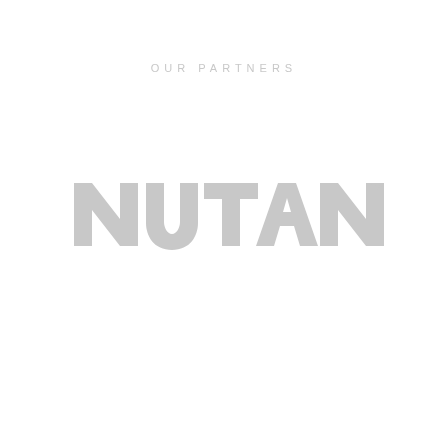OUR PARTNERS
[Figure (logo): Nutanix company logo in light gray color with trademark symbol]